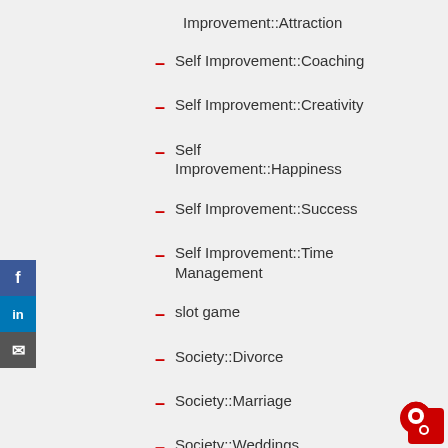Improvement::Attraction
Self Improvement::Coaching
Self Improvement::Creativity
Self Improvement::Happiness
Self Improvement::Success
Self Improvement::Time Management
slot game
Society::Divorce
Society::Marriage
Society::Weddings